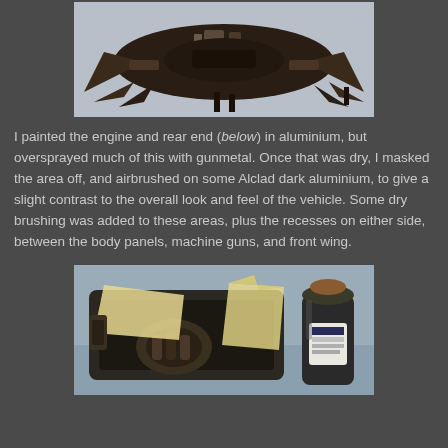[Figure (photo): A dark brown/black model vehicle chassis or body viewed from above/side, showing mechanical details, wings, and components against a light gray background.]
I painted the engine and rear end (below) in aluminium, but oversprayed much of this with gunmetal. Once that was dry, I masked the area off, and airbrushed on some Alclad dark aluminium, to give a slight contrast to the overall look and feel of the vehicle. Some dry brushing was added to these areas, plus the recesses on either side, between the body panels, machine guns, and front wing.
[Figure (photo): A model vehicle chassis with masking tape applied, engine/mechanical parts visible, next to a small bottle of Alclad paint, on a light blue-gray surface.]